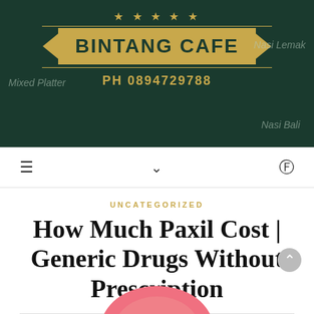[Figure (logo): Bintang Cafe restaurant logo banner with dark green background, gold stars, gold ribbon with cafe name, and phone number. Side texts: Mixed Platter, Nasi Lemak, Nasi Bali.]
≡   ∨   ☾
UNCATEGORIZED
How Much Paxil Cost | Generic Drugs Without Prescription
Paxil (Paroxetine) ★★★★☆
[Figure (photo): Partial image of a pink/red pill at the bottom of the page]